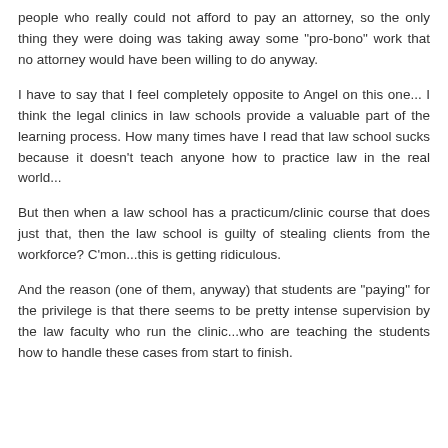people who really could not afford to pay an attorney, so the only thing they were doing was taking away some "pro-bono" work that no attorney would have been willing to do anyway.
I have to say that I feel completely opposite to Angel on this one... I think the legal clinics in law schools provide a valuable part of the learning process. How many times have I read that law school sucks because it doesn't teach anyone how to practice law in the real world...
But then when a law school has a practicum/clinic course that does just that, then the law school is guilty of stealing clients from the workforce? C'mon...this is getting ridiculous.
And the reason (one of them, anyway) that students are "paying" for the privilege is that there seems to be pretty intense supervision by the law faculty who run the clinic...who are teaching the students how to handle these cases from start to finish.